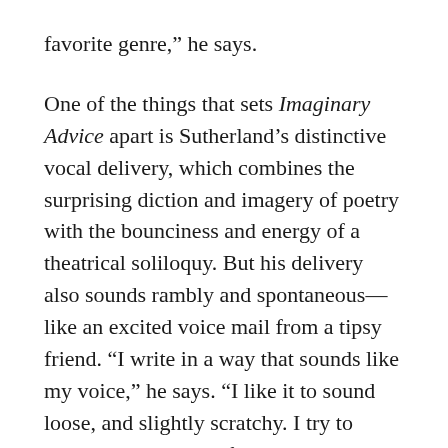favorite genre,” he says.
One of the things that sets Imaginary Advice apart is Sutherland’s distinctive vocal delivery, which combines the surprising diction and imagery of poetry with the bounciness and energy of a theatrical soliloquy. But his delivery also sounds rambly and spontaneous—like an excited voice mail from a tipsy friend. “I write in a way that sounds like my voice,” he says. “I like it to sound loose, and slightly scratchy. I try to capture the rhythm of speech on the page. So you have sentences with no end. Where I give up and try again. I lean on